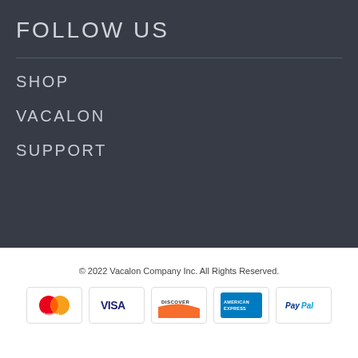FOLLOW US
SHOP
VACALON
SUPPORT
© 2022 Vacalon Company Inc. All Rights Reserved.
[Figure (other): Payment method logos: Mastercard, Visa, Discover, American Express, PayPal]